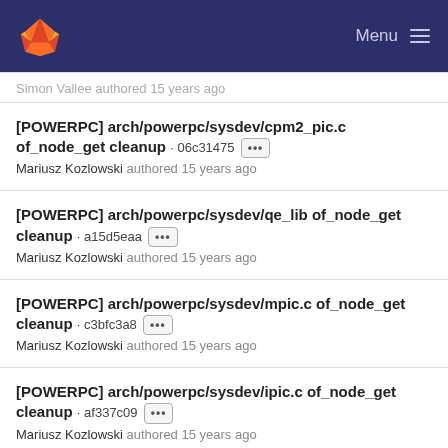GitLab — Menu
Simon Vallee authored 15 years ago
[POWERPC] arch/powerpc/sysdev/cpm2_pic.c of_node_get cleanup · 06c31475 ··· Mariusz Kozlowski authored 15 years ago
[POWERPC] arch/powerpc/sysdev/qe_lib of_node_get cleanup · a15d5eaa ··· Mariusz Kozlowski authored 15 years ago
[POWERPC] arch/powerpc/sysdev/mpic.c of_node_get cleanup · c3bfc3a8 ··· Mariusz Kozlowski authored 15 years ago
[POWERPC] arch/powerpc/sysdev/ipic.c of_node_get cleanup · af337c09 ··· Mariusz Kozlowski authored 15 years ago
[POWERPC] arch/powerpc/kernel/vio.c of_node_put cleanup · 6690faeb ···